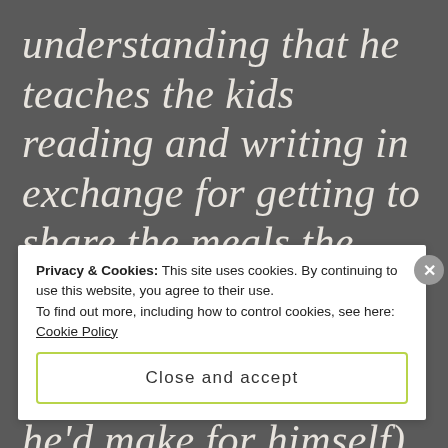understanding that he teaches the kids reading and writing in exchange for getting to share the meals the wife and sisters in the house make (simple food, but more than he'd make for himself). The
Privacy & Cookies: This site uses cookies. By continuing to use this website, you agree to their use.
To find out more, including how to control cookies, see here: Cookie Policy

Close and accept